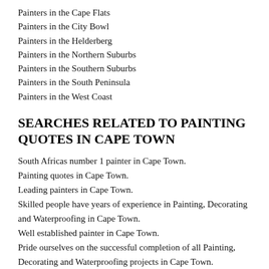Painters in the Cape Flats
Painters in the City Bowl
Painters in the Helderberg
Painters in the Northern Suburbs
Painters in the Southern Suburbs
Painters in the South Peninsula
Painters in the West Coast
SEARCHES RELATED TO PAINTING QUOTES IN CAPE TOWN
South Africas number 1 painter in Cape Town.
Painting quotes in Cape Town.
Leading painters in Cape Town.
Skilled people have years of experience in Painting, Decorating and Waterproofing in Cape Town.
Well established painter in Cape Town.
Pride ourselves on the successful completion of all Painting, Decorating and Waterproofing projects in Cape Town.
High standard of quality at the most economical prices in Cape Town.
Painter for all your Painting, Decorating and Waterproofing needs in Cape